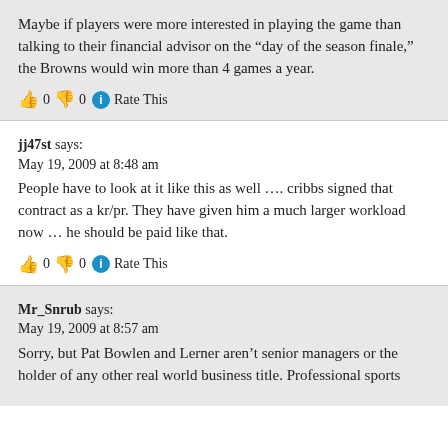Maybe if players were more interested in playing the game than talking to their financial advisor on the “day of the season finale,” the Browns would win more than 4 games a year.
👍 0 👎 0 ⓘ Rate This
jj47st says:
May 19, 2009 at 8:48 am
People have to look at it like this as well …. cribbs signed that contract as a kr/pr. They have given him a much larger workload now … he should be paid like that.
👍 0 👎 0 ⓘ Rate This
Mr_Snrub says:
May 19, 2009 at 8:57 am
Sorry, but Pat Bowlen and Lerner aren’t senior managers or the holder of any other real world business title. Professional sports